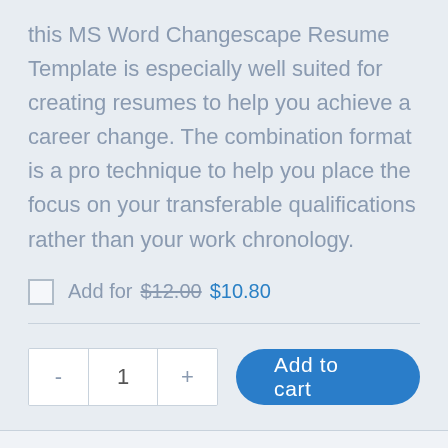this MS Word Changescape Resume Template is especially well suited for creating resumes to help you achieve a career change. The combination format is a pro technique to help you place the focus on your transferable qualifications rather than your work chronology.
Add for $12.00 $10.80
- 1 + Add to cart
CUSTOM-DESIGNED...EASY TO USE &